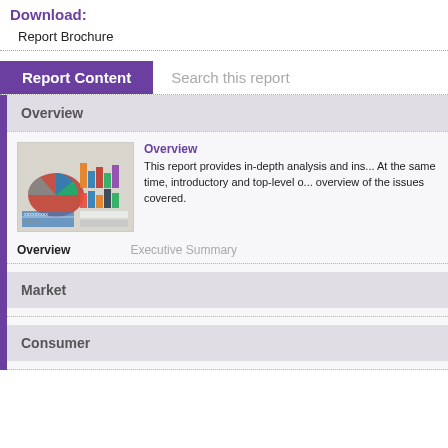Download:
Report Brochure
Report Content   Search this report
Overview
[Figure (photo): Photo of charts and graphs documents spread out showing bar charts and pie charts]
Overview
Overview
This report provides in-depth analysis and ins... At the same time, introductory and top-level o... overview of the issues covered.
Overview   Executive Summary
Market
Consumer